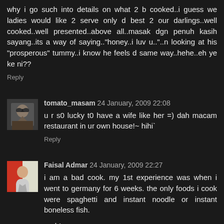why i go such into details on what 2 b cooked..i guess we ladies would like 2 serve only d best 2 our darlings..well cooked..well presented..above all..masak dgn penuh kasih sayang..its a way of saying.."honey..i luv u.."..n looking at his "prosperous" tummy..i know he feels d same way..hehe..eh ye ke ni??
Reply
tomato_masam 24 January, 2009 22:08
u r s0 lucky t0 have a wife like her =) dah macam restaurant in ur own house!~ hihi`
Reply
Faisal Admar 24 January, 2009 22:27
i am a bad cook. my 1st experience was when i went to germany for 6 weeks. the only foods i cook were spaghetti and instant noodle or instant boneless fish.
urgh!